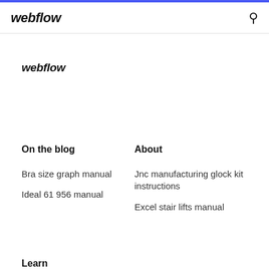webflow
webflow
On the blog
About
Bra size graph manual
Ideal 61 956 manual
Jnc manufacturing glock kit instructions
Excel stair lifts manual
Learn